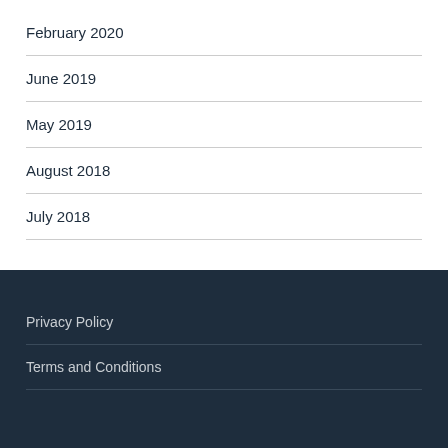February 2020
June 2019
May 2019
August 2018
July 2018
Privacy Policy
Terms and Conditions